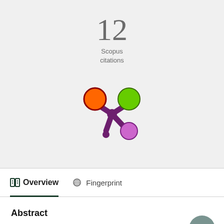12
Scopus
citations
[Figure (logo): Altmetric/Pure colored dots logo — purple asterisk-like center with orange, green, and purple colored circles on arms]
Overview
Fingerprint
Abstract
In the Republic of Korea, one of the biggest threats to amphibians is habitat modification such as urbanisation and land